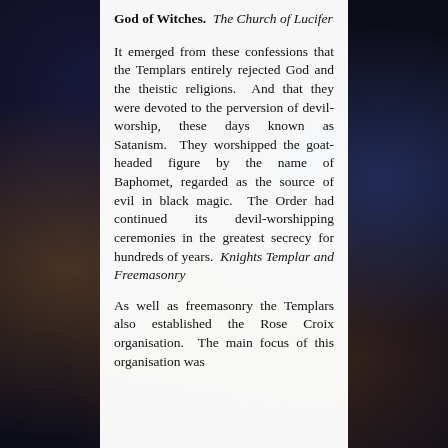God of Witches. The Church of Lucifer
It emerged from these confessions that the Templars entirely rejected God and the theistic religions. And that they were devoted to the perversion of devil-worship, these days known as Satanism. They worshipped the goat-headed figure by the name of Baphomet, regarded as the source of evil in black magic. The Order had continued its devil-worshipping ceremonies in the greatest secrecy for hundreds of years. Knights Templar and Freemasonry
As well as freemasonry the Templars also established the Rose Croix organisation. The main focus of this organisation was